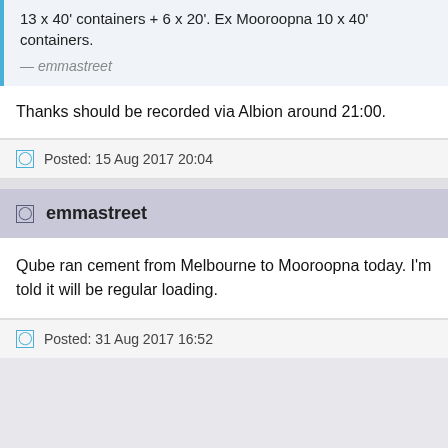13 x 40' containers + 6 x 20'. Ex Mooroopna 10 x 40' containers.
— emmastreet
Thanks should be recorded via Albion around 21:00.
Posted: 15 Aug 2017 20:04
emmastreet
Qube ran cement from Melbourne to Mooroopna today. I'm told it will be regular loading.
Posted: 31 Aug 2017 16:52